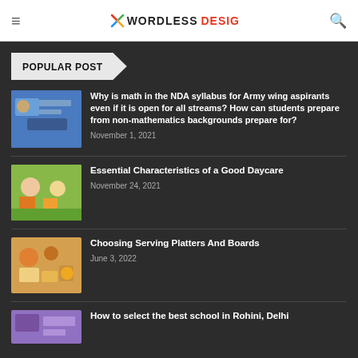WORDLESS DESIG
POPULAR POST
Why is math in the NDA syllabus for Army wing aspirants even if it is open for all streams? How can students prepare from non-mathematics backgrounds prepare for?
November 1, 2021
Essential Characteristics of a Good Daycare
November 24, 2021
Choosing Serving Platters And Boards
June 3, 2022
How to select the best school in Rohini, Delhi